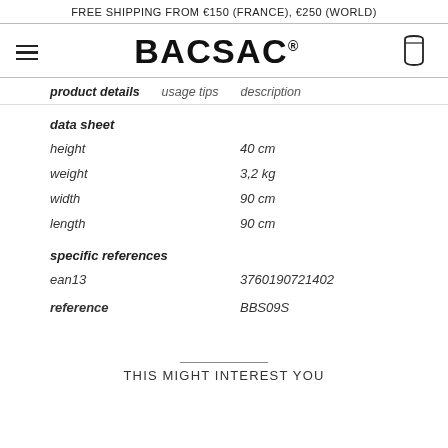FREE SHIPPING FROM €150 (FRANCE), €250 (WORLD)
BACSAC®
product details   usage tips   description
data sheet
|  |  |
| --- | --- |
| height | 40 cm |
| weight | 3,2 kg |
| width | 90 cm |
| length | 90 cm |
specific references
|  |  |
| --- | --- |
| ean13 | 3760190721402 |
| reference | BBS09S |
THIS MIGHT INTEREST YOU